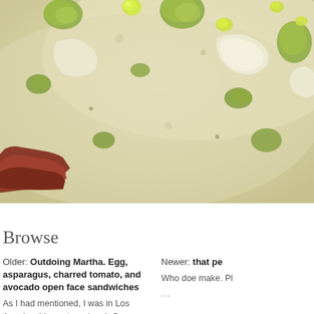[Figure (photo): Close-up food photo of a creamy soup or sauce with green vegetables (asparagus pieces) and olive oil droplets, with a piece of toasted bread visible at the bottom left edge.]
Browse
Older: Outdoing Martha. Egg, asparagus, charred tomato, and avocado open face sandwiches
As I had mentioned, I was in Los Angeles this past weekend. Our return flight to San Francisco was delayed a bit, which wasn't much
Newer: that pe
Who doe make. Pl